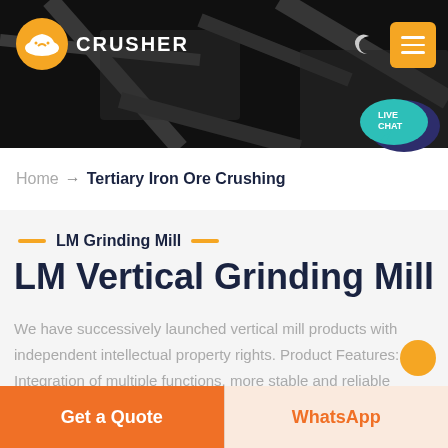[Figure (screenshot): Dark header banner with mining/crusher background image]
LM CRUSHER — navigation header with logo, moon icon, and menu button
Home → Tertiary Iron Ore Crushing
LM Grinding Mill
LM Vertical Grinding Mill
We have successively launched vertical mill products with independent intellectual property rights. Product Features: Integration of multiple functions, more stable and reliable production and more excellent capacity
Get a Quote | WhatsApp